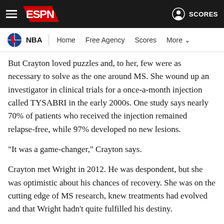ESPN — NBA | Home | Free Agency | Scores | More | SCORES
But Crayton loved puzzles and, to her, few were as necessary to solve as the one around MS. She wound up an investigator in clinical trials for a once-a-month injection called TYSABRI in the early 2000s. One study says nearly 70% of patients who received the injection remained relapse-free, while 97% developed no new lesions.
"It was a game-changer," Crayton says.
Crayton met Wright in 2012. He was despondent, but she was optimistic about his chances of recovery. She was on the cutting edge of MS research, knew treatments had evolved and that Wright hadn't quite fulfilled his destiny.
"His dad said, 'You don't understand: Basketball is his life, his